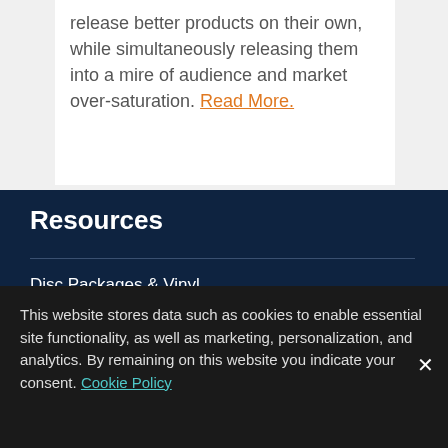release better products on their own, while simultaneously releasing them into a mire of audience and market over-saturation. Read More.
Resources
Disc Packages & Vinyl
Services
This website stores data such as cookies to enable essential site functionality, as well as marketing, personalization, and analytics. By remaining on this website you indicate your consent. Cookie Policy